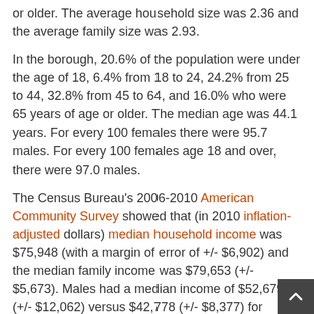or older. The average household size was 2.36 and the average family size was 2.93.
In the borough, 20.6% of the population were under the age of 18, 6.4% from 18 to 24, 24.2% from 25 to 44, 32.8% from 45 to 64, and 16.0% who were 65 years of age or older. The median age was 44.1 years. For every 100 females there were 95.7 males. For every 100 females age 18 and over, there were 97.0 males.
The Census Bureau's 2006-2010 American Community Survey showed that (in 2010 inflation-adjusted dollars) median household income was $75,948 (with a margin of error of +/- $6,902) and the median family income was $79,653 (+/- $5,673). Males had a median income of $52,679 (+/- $12,062) versus $42,778 (+/- $8,377) for females. The per capita income for the borough was $32,823 (+/- $2,774). About 0.9% of families and 2.6% of the population were below the poverty line, including 0.0% of those under age 18 and 6.6% of those age 65 or over.